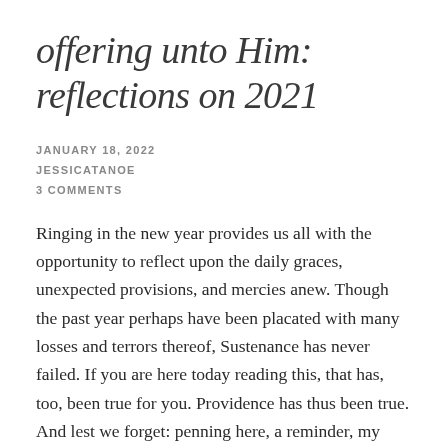offering unto Him: reflections on 2021
JANUARY 18, 2022
JESSICATANOE
3 COMMENTS
Ringing in the new year provides us all with the opportunity to reflect upon the daily graces, unexpected provisions, and mercies anew. Though the past year perhaps have been placated with many losses and terrors thereof, Sustenance has never failed. If you are here today reading this, that has, too, been true for you. Providence has thus been true. And lest we forget: penning here, a reminder, my annual letter to self.